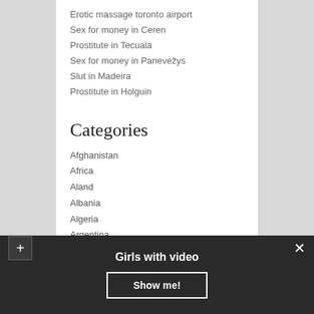Erotic massage toronto airport
Sex for money in Ceren
Prostitute in Tecuala
Sex for money in Panevežys
Slut in Madeira
Prostitute in Holguin
Categories
Afghanistan
Africa
Aland
Albania
Algeria
Argentina
Australia
Austria
Girls with video
Show me!